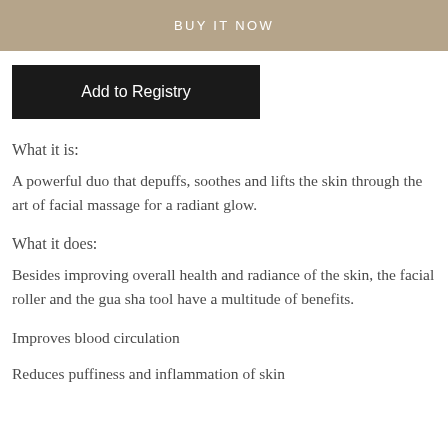BUY IT NOW
Add to Registry
What it is:
A powerful duo that depuffs, soothes and lifts the skin through the art of facial massage for a radiant glow.
What it does:
Besides improving overall health and radiance of the skin, the facial roller and the gua sha tool have a multitude of benefits.
Improves blood circulation
Reduces puffiness and inflammation of skin